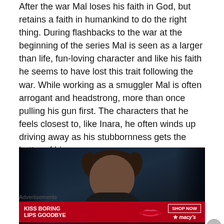After the war Mal loses his faith in God, but retains a faith in humankind to do the right thing. During flashbacks to the war at the beginning of the series Mal is seen as a larger than life, fun-loving character and like his faith he seems to have lost this trait following the war. While working as a smuggler Mal is often arrogant and headstrong, more than once pulling his gun first. The characters that he feels closest to, like Inara, he often winds up driving away as his stubbornness gets the better of him.
[Figure (photo): Dark photograph of a person with spiky/messy dark hair, face partially obscured, dark moody lighting]
Advertisements
[Figure (photo): Advertisement banner: KISS BORING LIPS GOODBYE - SHOP NOW - Macy's, with woman's lips image on red background]